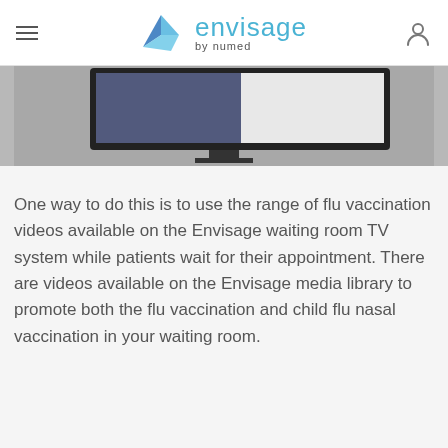envisage by numed
[Figure (photo): Partial view of a waiting room TV screen displaying a patient scene, mounted on a concrete-style wall background.]
One way to do this is to use the range of flu vaccination videos available on the Envisage waiting room TV system while patients wait for their appointment. There are videos available on the Envisage media library to promote both the flu vaccination and child flu nasal vaccination in your waiting room.